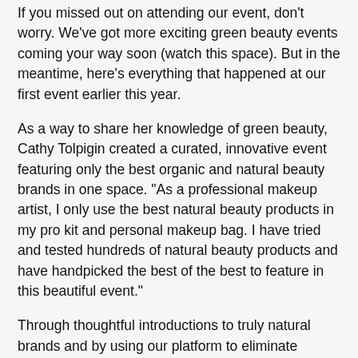If you missed out on attending our event, don't worry. We've got more exciting green beauty events coming your way soon (watch this space). But in the meantime, here's everything that happened at our first event earlier this year.
As a way to share her knowledge of green beauty, Cathy Tolpigin created a curated, innovative event featuring only the best organic and natural beauty brands in one space. “As a professional makeup artist, I only use the best natural beauty products in my pro kit and personal makeup bag. I have tried and tested hundreds of natural beauty products and have handpicked the best of the best to feature in this beautiful event.”
Through thoughtful introductions to truly natural brands and by using our platform to eliminate confusion caused by